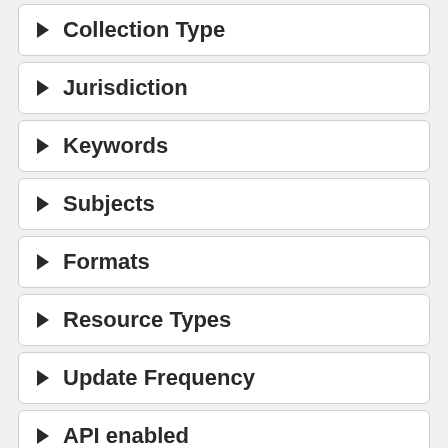▶ Collection Type
▶ Jurisdiction
▶ Keywords
▶ Subjects
▶ Formats
▶ Resource Types
▶ Update Frequency
▶ API enabled